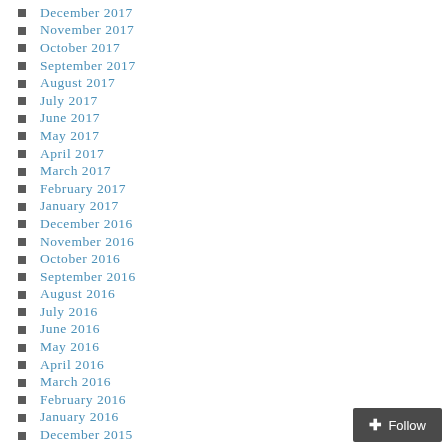December 2017
November 2017
October 2017
September 2017
August 2017
July 2017
June 2017
May 2017
April 2017
March 2017
February 2017
January 2017
December 2016
November 2016
October 2016
September 2016
August 2016
July 2016
June 2016
May 2016
April 2016
March 2016
February 2016
January 2016
December 2015